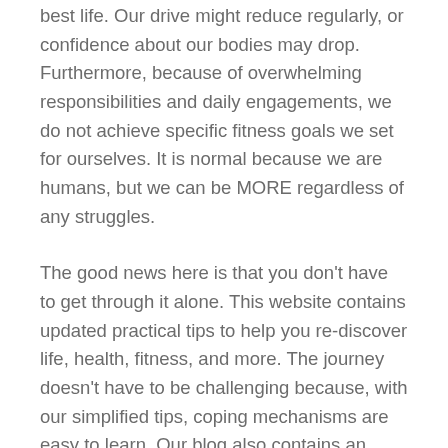best life. Our drive might reduce regularly, or confidence about our bodies may drop. Furthermore, because of overwhelming responsibilities and daily engagements, we do not achieve specific fitness goals we set for ourselves. It is normal because we are humans, but we can be MORE regardless of any struggles.
The good news here is that you don't have to get through it alone. This website contains updated practical tips to help you re-discover life, health, fitness, and more. The journey doesn't have to be challenging because, with our simplified tips, coping mechanisms are easy to learn. Our blog also contains an array of straightforward workout routines; you can do ten minutes every morning. Besides that, you can